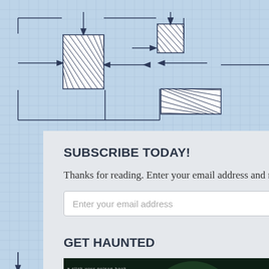[Figure (schematic): Blueprint-style background with grid lines and hatched boxes connected by arrows, showing a flowchart/schematic pattern in light blue tones]
SUBSCRIBE TODAY!
Thanks for reading. Enter your email address and never miss a thing. I promise–no spam.
[Figure (other): Email input field with placeholder text 'Enter your email address']
[Figure (other): Blue Follow button]
GET HAUNTED
[Figure (photo): Book cover for 'Haunted: a click your poison book' showing a haunted house silhouette against a large green moon with misty atmospheric effects and large white text reading HAUNTED]